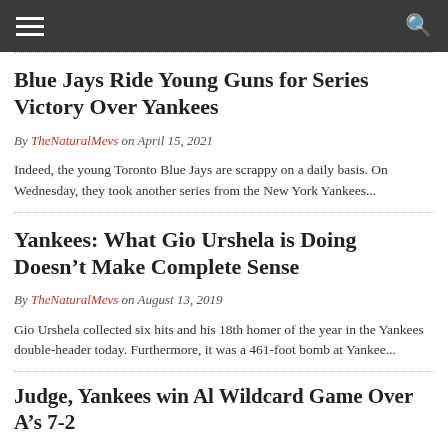Navigation bar with hamburger menu and search icon
Blue Jays Ride Young Guns for Series Victory Over Yankees
By TheNaturalMevs on April 15, 2021
Indeed, the young Toronto Blue Jays are scrappy on a daily basis. On Wednesday, they took another series from the New York Yankees...
Yankees: What Gio Urshela is Doing Doesn't Make Complete Sense
By TheNaturalMevs on August 13, 2019
Gio Urshela collected six hits and his 18th homer of the year in the Yankees double-header today. Furthermore, it was a 461-foot bomb at Yankee...
Judge, Yankees win AL Wildcard Game Over A's 7-2